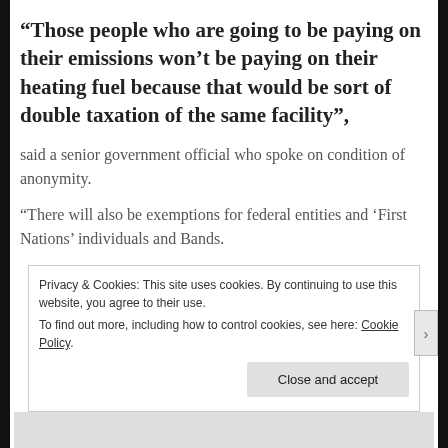“Those people who are going to be paying on their emissions won’t be paying on their heating fuel because that would be sort of double taxation of the same facility”,
said a senior government official who spoke on condition of anonymity.
“There will also be exemptions for federal entities and ‘First Nations’ individuals and Bands.
Privacy & Cookies: This site uses cookies. By continuing to use this website, you agree to their use.
To find out more, including how to control cookies, see here: Cookie Policy